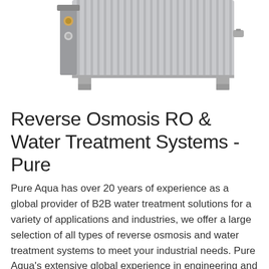[Figure (photo): Partial view of an industrial reverse osmosis water treatment unit/module, grey metallic casing with fittings and connections visible, photo cropped at top]
Reverse Osmosis RO & Water Treatment Systems - Pure
Pure Aqua has over 20 years of experience as a global provider of B2B water treatment solutions for a variety of applications and industries, we offer a large selection of all types of reverse osmosis and water treatment systems to meet your industrial needs. Pure Aqua's extensive global experience in engineering and manufacturing allows us to pre-engineer and customize water treatment and ...
Get Price